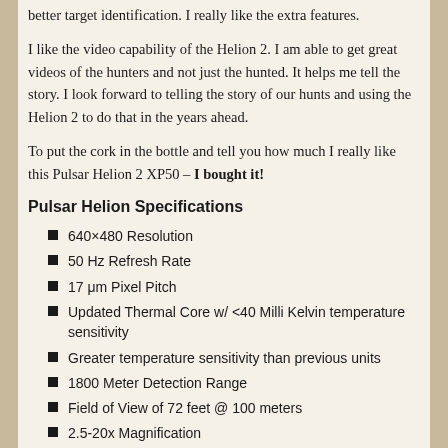better target identification. I really like the extra features.
I like the video capability of the Helion 2. I am able to get great videos of the hunters and not just the hunted. It helps me tell the story. I look forward to telling the story of our hunts and using the Helion 2 to do that in the years ahead.
To put the cork in the bottle and tell you how much I really like this Pulsar Helion 2 XP50 – I bought it!
Pulsar Helion Specifications
640×480 Resolution
50 Hz Refresh Rate
17 μm Pixel Pitch
Updated Thermal Core w/ <40 Milli Kelvin temperature sensitivity
Greater temperature sensitivity than previous units
1800 Meter Detection Range
Field of View of 72 feet @ 100 meters
2.5-20x Magnification